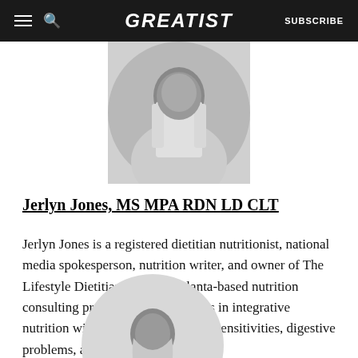GREATIST | SUBSCRIBE
[Figure (photo): Circular black and white profile photo of Jerlyn Jones, cropped at top, showing person in white coat]
Jerlyn Jones, MS MPA RDN LD CLT
Jerlyn Jones is a registered dietitian nutritionist, national media spokesperson, nutrition writer, and owner of The Lifestyle Dietitian LLC, an Atlanta-based nutrition consulting practice. She specializes in integrative nutrition with an emphasis on food sensitivities, digestive problems, and women’s health.
[Figure (photo): Circular black and white profile photo of another person, partially visible at bottom of page]